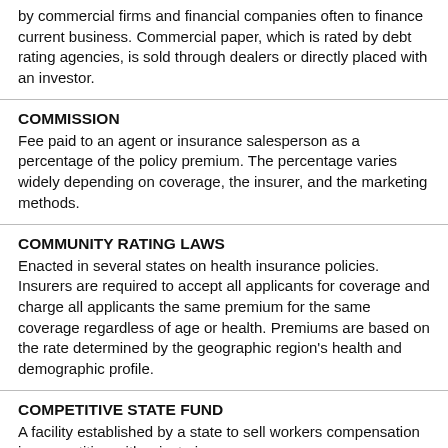by commercial firms and financial companies often to finance current business. Commercial paper, which is rated by debt rating agencies, is sold through dealers or directly placed with an investor.
COMMISSION
Fee paid to an agent or insurance salesperson as a percentage of the policy premium. The percentage varies widely depending on coverage, the insurer, and the marketing methods.
COMMUNITY RATING LAWS
Enacted in several states on health insurance policies. Insurers are required to accept all applicants for coverage and charge all applicants the same premium for the same coverage regardless of age or health. Premiums are based on the rate determined by the geographic region's health and demographic profile.
COMPETITIVE STATE FUND
A facility established by a state to sell workers compensation in competition with private insurers.
COMPLETED OPERATIONS COVERAGE
Pays for bodily injury or property damage caused by a completed project or job. Protects a business that sells a service against liability claims.
COMPREHENSIVE COVERAGE
Portion of an auto insurance policy that covers damage to the policyholder's car not involving a collision with another car (including damage from fire, wind, hail, water, flood, theft, and vandalism).